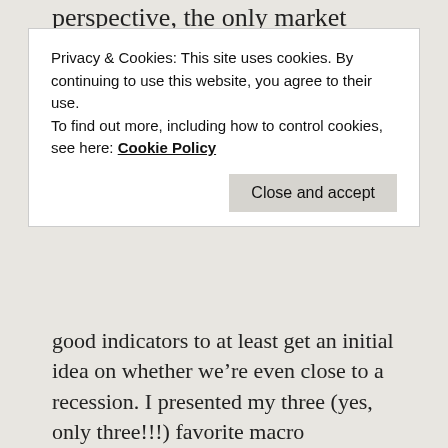perspective, the only market events we really
Privacy & Cookies: This site uses cookies. By continuing to use this website, you agree to their use.
To find out more, including how to control cookies, see here: Cookie Policy
Close and accept
good indicators to at least get an initial idea on whether we’re even close to a recession. I presented my three (yes, only three!!!) favorite macro indicators that I follow to get a sense about the health of the economy. Quickly, because I’m retired and don’t have time to follow hundreds of indicators!
So, how are those three indicators holding up as of September 2019? Let’s go through them one by one and assign a letter grade (A–F):
1: The Yield Curve (Grade: C-!)